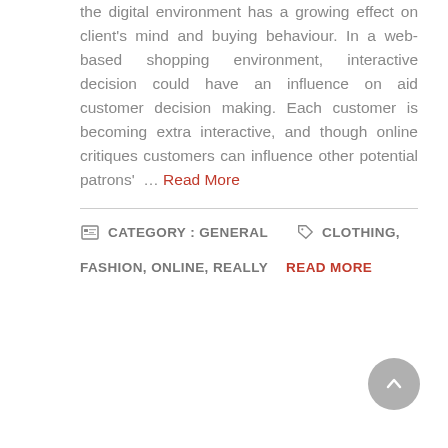the digital environment has a growing effect on client's mind and buying behaviour. In a web-based shopping environment, interactive decision could have an influence on aid customer decision making. Each customer is becoming extra interactive, and though online critiques customers can influence other potential patrons' … Read More
CATEGORY : GENERAL   CLOTHING, FASHION, ONLINE, REALLY   READ MORE